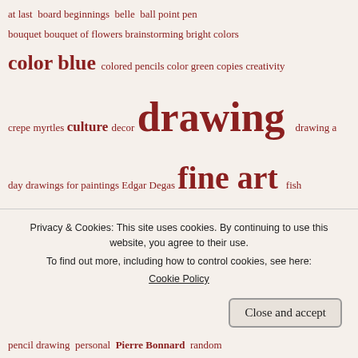at last board beginnings belle ball point pen bouquet bouquet of flowers brainstorming bright colors color blue colored pencils color green copies creativity crepe myrtles culture decor drawing drawing a day drawings for paintings Edgar Degas fine art fish flowers garden house cleaning illustration imagination impressionism invention joie de vivre Koi koi pond landscape life ...
Privacy & Cookies: This site uses cookies. By continuing to use this website, you agree to their use. To find out more, including how to control cookies, see here: Cookie Policy
Close and accept
pencil drawing personal Pierre Bonnard random